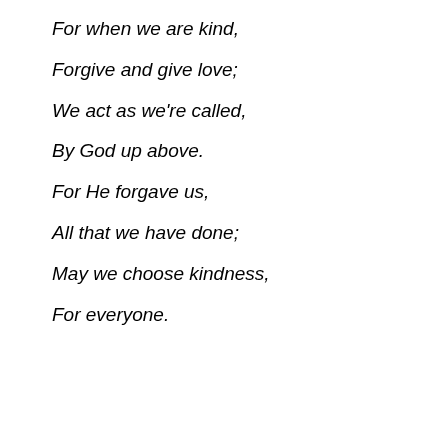For when we are kind,
Forgive and give love;
We act as we're called,
By God up above.
For He forgave us,
All that we have done;
May we choose kindness,
For everyone.